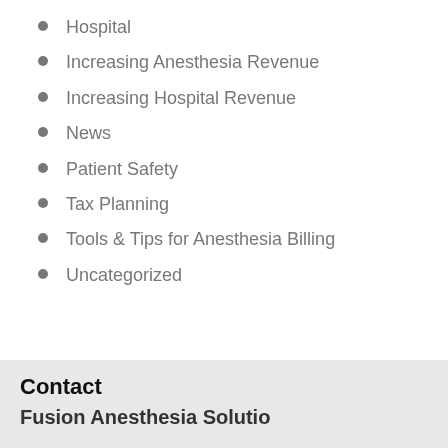Hospital
Increasing Anesthesia Revenue
Increasing Hospital Revenue
News
Patient Safety
Tax Planning
Tools & Tips for Anesthesia Billing
Uncategorized
Contact
Fusion Anesthesia Solutio…